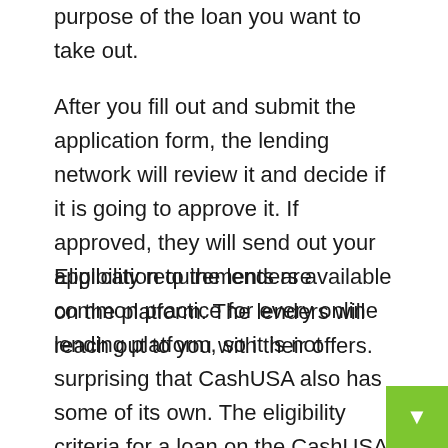purpose of the loan you want to take out.
After you fill out and submit the application form, the lending network will review it and decide if it is going to approve it. If approved, they will send out your application to the lenders available on the platform. The lenders will reach out to you with their offers.
Eligibility requirements are common practice for every online lending platform, so it is not surprising that CashUSA also has some of its own. The eligibility criteria for a loan on the CashUSA network are pretty standard and easy to meet. They include that you must be at least 18 to apply, be a citizen or a permanent reside